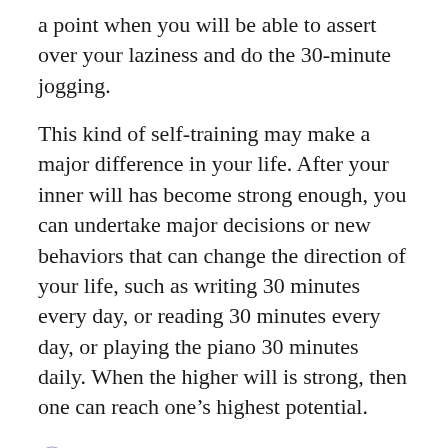a point when you will be able to assert over your laziness and do the 30-minute jogging.
This kind of self-training may make a major difference in your life. After your inner will has become strong enough, you can undertake major decisions or new behaviors that can change the direction of your life, such as writing 30 minutes every day, or reading 30 minutes every day, or playing the piano 30 minutes daily. When the higher will is strong, then one can reach one’s highest potential.
Vic / March 29, 2018 / Self-Mastery / character, Insights, living, self-awareness, self-development, Self-Mastery, wisdom / Leave a comment